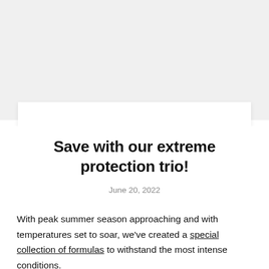[Figure (photo): Light gray background image area at the top of the page, partially obscured product photo]
Save with our extreme protection trio!
June 20, 2022
With peak summer season approaching and with temperatures set to soar, we've created a special collection of formulas to withstand the most intense conditions.